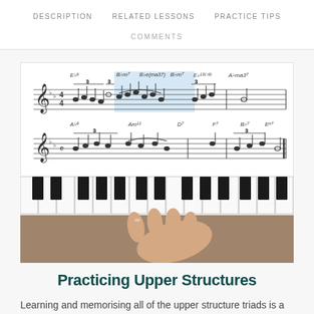DESCRIPTION   RELATED LESSONS   PRACTICE TIPS
COMMENTS
[Figure (illustration): Sheet music showing jazz chord notation with two lines of musical staff, chord symbols including Eb6, Bb7, Bbe(ma37), Bb7, Eb13(b9), Abma37, Ab6, Am11, D7, F7, Bb7, Eo7, with a blue highlight on a portion of the first line.]
[Figure (photo): Close-up photo of hands playing piano keys, showing white and black piano keys with two hands positioned on the keyboard.]
Practicing Upper Structures
Learning and memorising all of the upper structure triads is a daunting